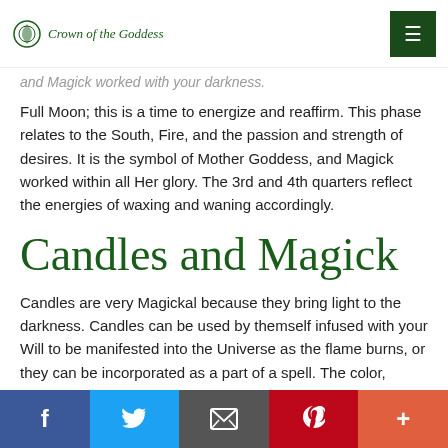Crown of the Goddess
and Magick worked with your darkness.
Full Moon; this is a time to energize and reaffirm. This phase relates to the South, Fire, and the passion and strength of desires. It is the symbol of Mother Goddess, and Magick worked within all Her glory. The 3rd and 4th quarters reflect the energies of waxing and waning accordingly.
Candles and Magick
Candles are very Magickal because they bring light to the darkness. Candles can be used by themself infused with your Will to be manifested into the Universe as the flame burns, or they can be incorporated as a part of a spell. The color, shape, and size can play an important role in your Magick. The color can signify your intent, design, and shape can represent the objective, and size is
f  Twitter  Email  Pinterest  +